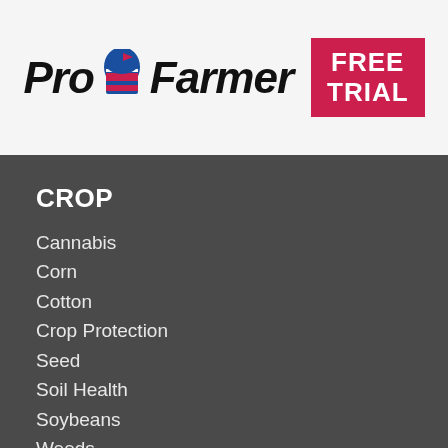[Figure (logo): Pro Farmer logo with stylized grain elevator/silo icon between 'Pro' and 'Farmer' text, alongside a red 'FREE TRIAL' badge]
CROP
Cannabis
Corn
Cotton
Crop Protection
Seed
Soil Health
Soybeans
Weeds
Wheat